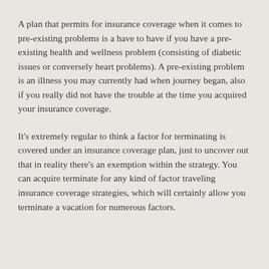A plan that permits for insurance coverage when it comes to pre-existing problems is a have to have if you have a pre-existing health and wellness problem (consisting of diabetic issues or conversely heart problems). A pre-existing problem is an illness you may currently had when journey began, also if you really did not have the trouble at the time you acquired your insurance coverage.
It's extremely regular to think a factor for terminating is covered under an insurance coverage plan, just to uncover out that in reality there's an exemption within the strategy. You can acquire terminate for any kind of factor traveling insurance coverage strategies, which will certainly allow you terminate a vacation for numerous factors.